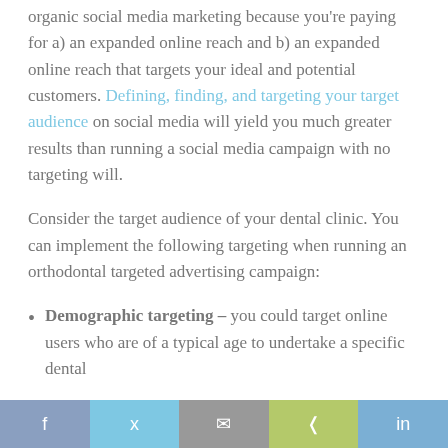organic social media marketing because you're paying for a) an expanded online reach and b) an expanded online reach that targets your ideal and potential customers. Defining, finding, and targeting your target audience on social media will yield you much greater results than running a social media campaign with no targeting will.
Consider the target audience of your dental clinic. You can implement the following targeting when running an orthodontal targeted advertising campaign:
Demographic targeting – you could target online users who are of a typical age to undertake a specific dental
f  y  [email]  < share  in